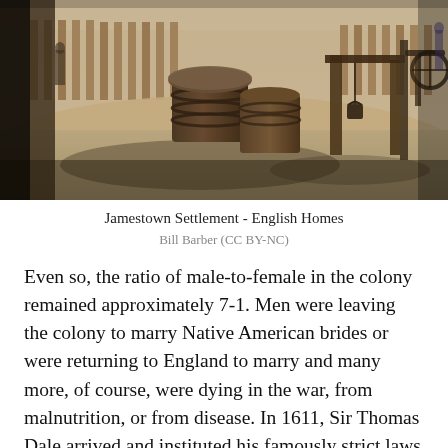[Figure (photo): Historical photograph of Jamestown Settlement showing a colonial courtyard with wooden barrels, a well with hanging buckets, wooden fencing, and figures in the background. Warm sepia-toned lighting.]
Jamestown Settlement - English Homes
Bill Barber (CC BY-NC)
Even so, the ratio of male-to-female in the colony remained approximately 7-1. Men were leaving the colony to marry Native American brides or were returning to England to marry and many more, of course, were dying in the war, from malnutrition, or from disease. In 1611, Sir Thomas Dale arrived and instituted his famously strict laws which prohibited marriage to natives, but this does not seem to have stopped the constant turnover of the